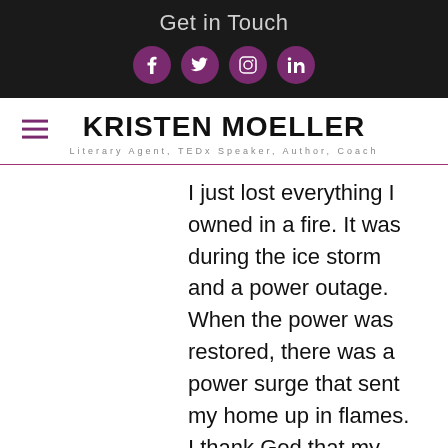Get in Touch
[Figure (illustration): Four social media icons (Facebook, Twitter, Instagram, LinkedIn) displayed as white icons on purple circular backgrounds]
KRISTEN MOELLER
Literary Agent, TEDx Speaker, Author, Coach
I just lost everything I owned in a fire. It was during the ice storm and a power outage. When the power was restored, there was a power surge that sent my home up in flames. I thank God that my three boys weren't home.